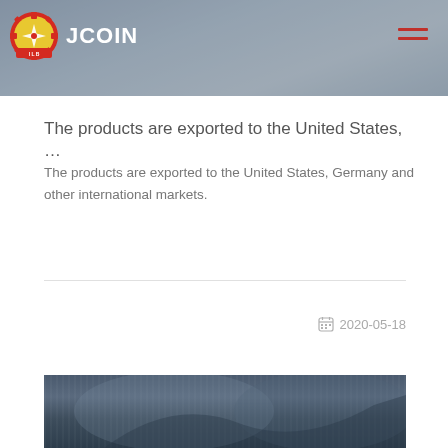JCOIN
The products are exported to the United States, …
The products are exported to the United States, Germany and other international markets.
2020-05-18
[Figure (photo): Dark blue/grey fabric or clothing texture photograph]